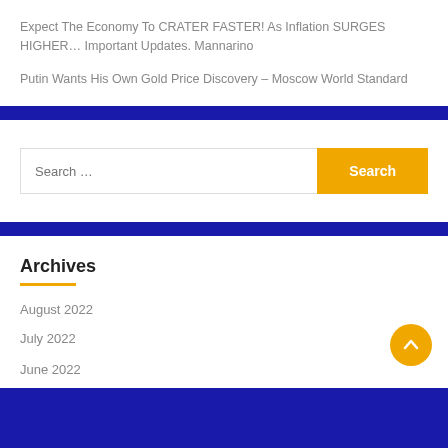Expect The Economy To CRATER FASTER! As Inflation SURGES HIGHER… Important Updates. Mannarino
Putin Wants His Own Gold Price Discovery – Moscow World Standard
Archives
August 2022
July 2022
June 2022